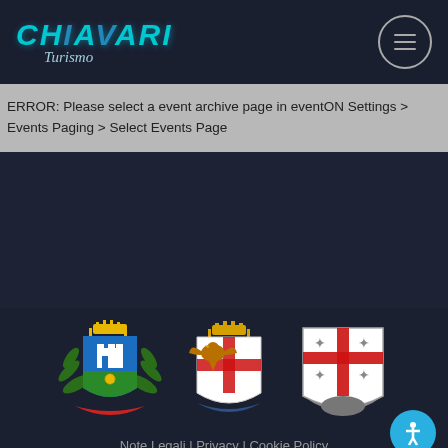[Figure (logo): Chiavari Turismo logo with stylized teal/blue text and cursive turismo subtitle]
[Figure (illustration): Circular hamburger menu button with three horizontal lines]
ERROR: Please select a event archive page in eventON Settings > Events Paging > Select Events Page
[Figure (illustration): Three heraldic coat of arms logos: Chiavari municipality green shield, Province of Genova eagle/cross shield, Liguria region cross shield with stars]
Note Legali | Privacy | Cookie Policy
© 2019 – Comune di Chiavari – Piazza Nostra Signora dell'Orto